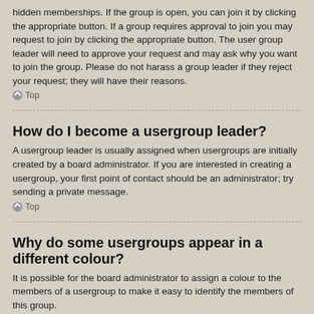hidden memberships. If the group is open, you can join it by clicking the appropriate button. If a group requires approval to join you may request to join by clicking the appropriate button. The user group leader will need to approve your request and may ask why you want to join the group. Please do not harass a group leader if they reject your request; they will have their reasons.
Top
How do I become a usergroup leader?
A usergroup leader is usually assigned when usergroups are initially created by a board administrator. If you are interested in creating a usergroup, your first point of contact should be an administrator; try sending a private message.
Top
Why do some usergroups appear in a different colour?
It is possible for the board administrator to assign a colour to the members of a usergroup to make it easy to identify the members of this group.
Top
What is a “Default usergroup”?